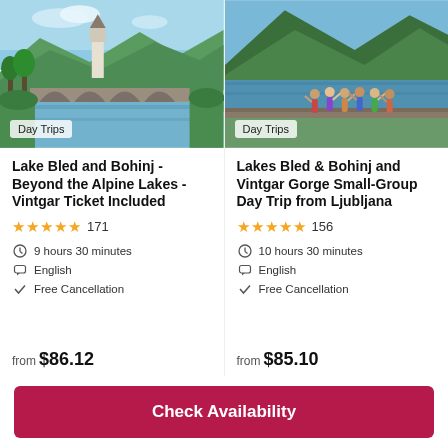[Figure (photo): Scenic alpine lake with stone arch bridge and church tower, lush green trees and mountains in background]
Day Trips
Lake Bled and Bohinj - Beyond the Alpine Lakes - Vintgar Ticket Included
★★★★★ 171
9 hours 30 minutes
English
Free Cancellation
from $86.12
[Figure (photo): Group of tourists waving in front of Lake Bohinj with mountains in background]
Day Trips
Lakes Bled & Bohinj and Vintgar Gorge Small-Group Day Trip from Ljubljana
★★★★★ 156
10 hours 30 minutes
English
Free Cancellation
from $85.10
Check Availability